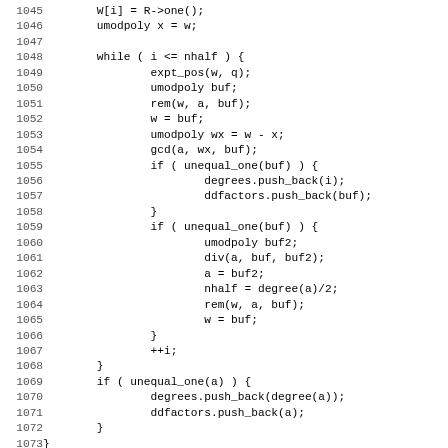Code listing lines 1045-1076+, showing C++ polynomial factorization algorithm with while loop, gcd, expt_pos, rem, div operations and a comment about modular same degree factorization.